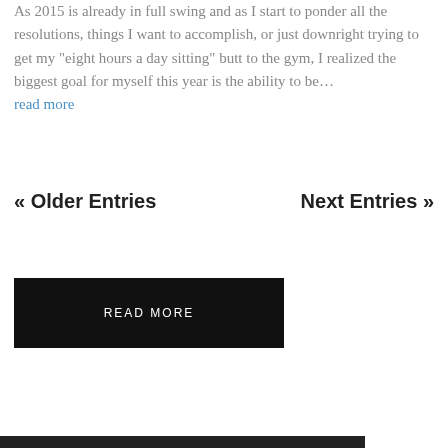As 2015 is already in full swing and as I start to ponder all the resolutions, things I want to accomplish, or just downright trying to get my “eight hours a day sitting” butt to the gym, I realized the biggest goal for myself this year is the ability to be…
read more
« Older Entries
Next Entries »
READ MORE